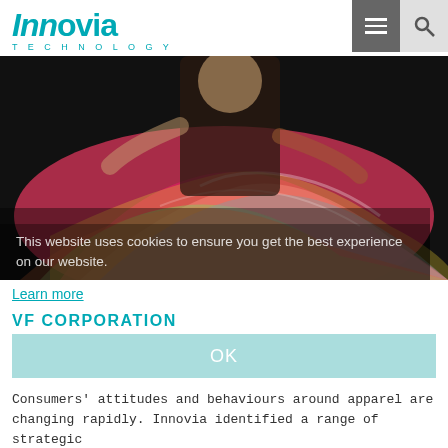Innovia TECHNOLOGY
[Figure (photo): Fashion photo of a woman in a colorful swirling multi-colored dress on a dark background]
This website uses cookies to ensure you get the best experience on our website.
Learn more
VF CORPORATION
OK
Consumers' attitudes and behaviours around apparel are changing rapidly. Innovia identified a range of strategic